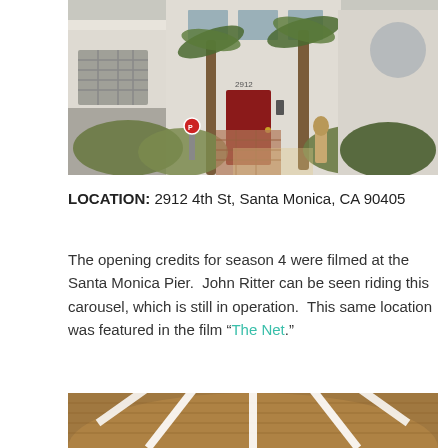[Figure (photo): Exterior photo of a white stucco building with a red front door, palm trees, ornamental grasses, and a brick walkway. Address number 2912 visible near the door.]
LOCATION: 2912 4th St, Santa Monica, CA 90405
The opening credits for season 4 were filmed at the Santa Monica Pier.  John Ritter can be seen riding this carousel, which is still in operation.  This same location was featured in the film “The Net.”
[Figure (photo): Partial view of a carousel or merry-go-round structure, showing white radial spokes against a wooden circular floor, viewed from above or inside.]